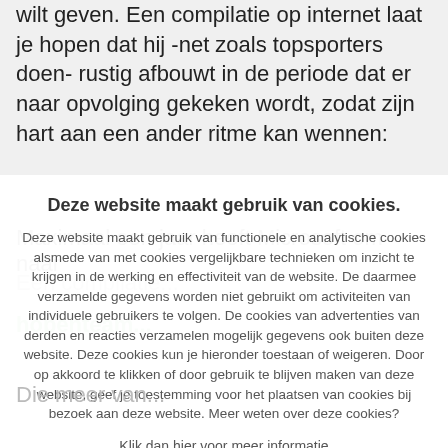wilt geven. Een compilatie op internet laat je hopen dat hij -net zoals topsporters doen- rustig afbouwt in de periode dat er naar opvolging gekeken wordt, zodat zijn hart aan een ander ritme kan wennen:
Maximaal een jaar heeft Microsoft om naar
Deze website maakt gebruik van cookies.
Deze website maakt gebruik van functionele en analytische cookies alsmede van met cookies vergelijkbare technieken om inzicht te krijgen in de werking en effectiviteit van de website. De daarmee verzamelde gegevens worden niet gebruikt om activiteiten van individuele gebruikers te volgen. De cookies van advertenties van derden en reacties verzamelen mogelijk gegevens ook buiten deze website. Deze cookies kun je hieronder toestaan of weigeren. Door op akkoord te klikken of door gebruik te blijven maken van deze website, geef je toestemming voor het plaatsen van cookies bij bezoek aan deze website. Meer weten over deze cookies?
Klik dan hier voor meer informatie
Akkoord
Niet akkoord